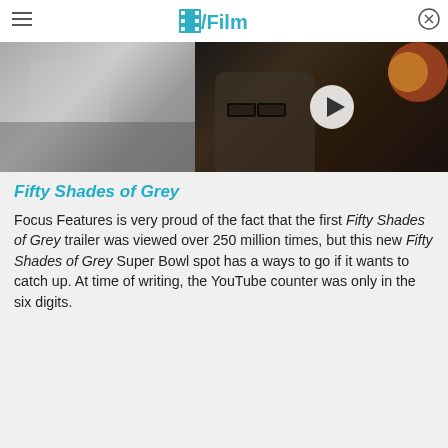/Film
[Figure (screenshot): Two side-by-side images: left shows a partial blurred figure, right shows a video thumbnail of a man with glasses with a play button overlay]
Fifty Shades of Grey
Focus Features is very proud of the fact that the first Fifty Shades of Grey trailer was viewed over 250 million times, but this new Fifty Shades of Grey Super Bowl spot has a ways to go if it wants to catch up. At time of writing, the YouTube counter was only in the six digits.